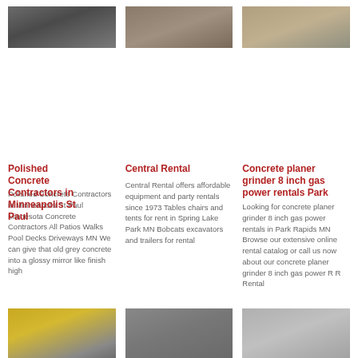[Figure (photo): Construction or industrial facility photo (dark tones)]
[Figure (photo): Sandy or dirt mound/pile aerial or ground photo]
[Figure (photo): Concrete or stone surface/road scene]
Polished Concrete Contractors in Minneapolis St Paul
Central Rental
Concrete planer grinder 8 inch gas power rentals Park
Polished Concrete Contractors in Minneapolis St Paul Minnesota Concrete Contractors All Patios Walks Pool Decks Driveways MN We can give that old grey concrete into a glossy mirror like finish high
Central Rental offers affordable equipment and party rentals since 1973 Tables chairs and tents for rent in Spring Lake Park MN Bobcats excavators and trailers for rental
Looking for concrete planer grinder 8 inch gas power rentals in Park Rapids MN Browse our extensive online rental catalog or call us now about our concrete planer grinder 8 inch gas power R R Rental
[Figure (photo): Yellow industrial crushing/screening machine at quarry]
[Figure (photo): Industrial motor or compressor equipment, grey/beige]
[Figure (photo): Quarry or mining site with chevron safety marker]
Saws Grinders
CONCRETE
Concrete